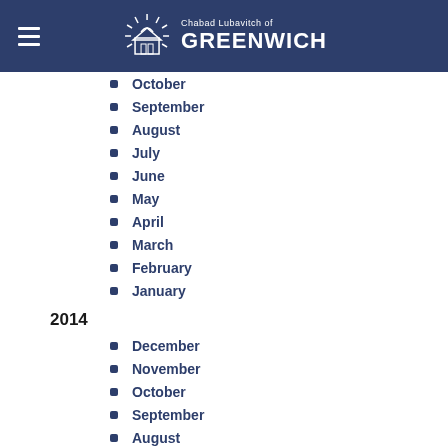Chabad Lubavitch of GREENWICH
October
September
August
July
June
May
April
March
February
January
2014
December
November
October
September
August
July
April
February
January
2013